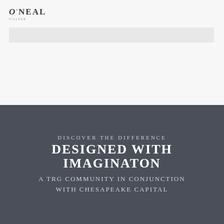[Figure (logo): O'Neal logo with apostrophe in gold, company name in uppercase, and small tagline below]
[Figure (photo): Light gray banner/image placeholder area]
DISCOVER THE DIFFERENCE
DESIGNED WITH IMAGINATON
A TRG COMMUNITY IN CONJUNCTION
WITH CHESAPEAKE CAPITAL